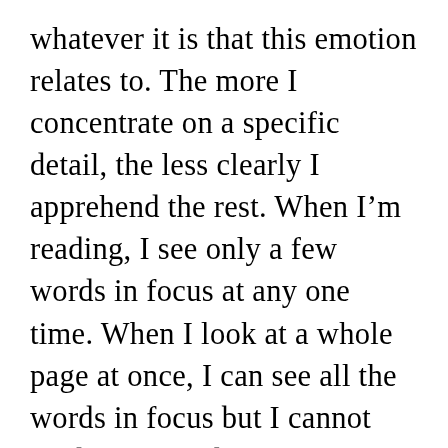whatever it is that this emotion relates to. The more I concentrate on a specific detail, the less clearly I apprehend the rest. When I'm reading, I see only a few words in focus at any one time. When I look at a whole page at once, I can see all the words in focus but I cannot read them. And when I understand a longer sentence as a whole, it doesn't appear as a